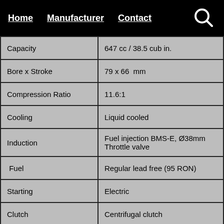Home   Manufacturer   Contact
| Property | Value |
| --- | --- |
| Capacity | 647 cc / 38.5 cub in. |
| Bore x Stroke | 79 x 66  mm |
| Compression Ratio | 11.6:1 |
| Cooling | Liquid cooled |
| Induction | Fuel injection BMS-E, Ø38mm Throttle valve |
| Fuel | Regular lead free (95 RON) |
| Starting | Electric |
| Clutch | Centrifugal clutch |